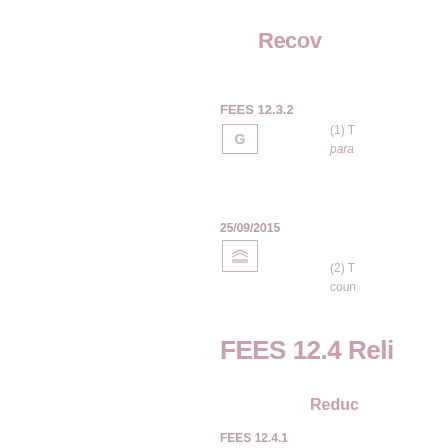Recov...
FEES 12.3.2
(1) T... para...
25/09/2015
(2) T... coun...
FEES 12.4 Reli...
Reduc...
FEES 12.4.1
The FCA... appears... part of n...
25/09/2015
FEES 12.4.2
The FCA... the C...